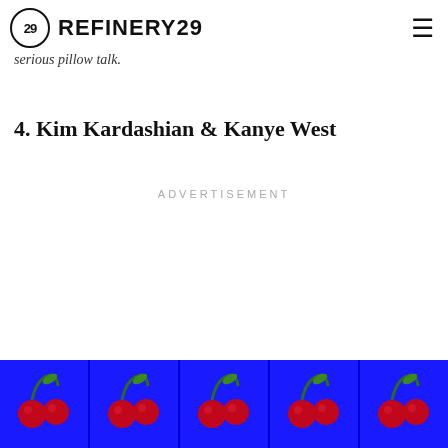REFINERY29
serious pillow talk.
4. Kim Kardashian & Kanye West
ADVERTISEMENT
[Figure (illustration): Advertisement banner with blue background showing five cherry icons in a row, separated by vertical borders.]